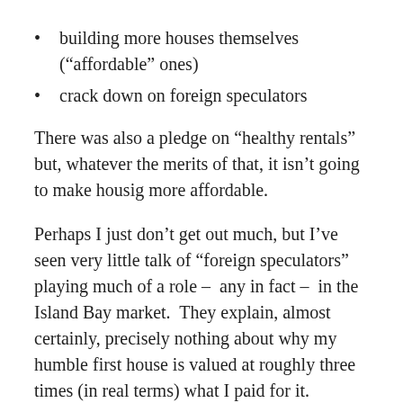building more houses themselves (“affordable” ones)
crack down on foreign speculators
There was also a pledge on “healthy rentals” but, whatever the merits of that, it isn’t going to make housig more affordable.
Perhaps I just don’t get out much, but I’ve seen very little talk of “foreign speculators” playing much of a role –  any in fact –  in the Island Bay market.  They explain, almost certainly, precisely nothing about why my humble first house is valued at roughly three times (in real terms) what I paid for it.
But more importantly there is nothing, not a